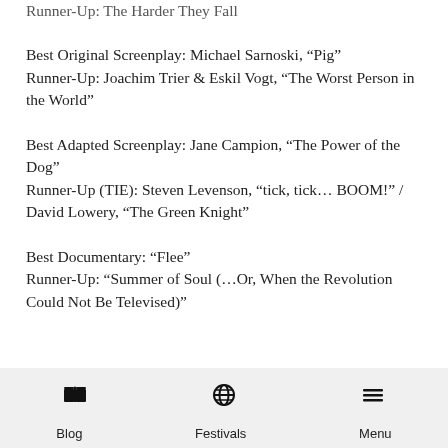Runner-Up: The Harder They Fall
Best Original Screenplay: Michael Sarnoski, “Pig”
Runner-Up: Joachim Trier & Eskil Vogt, “The Worst Person in the World”
Best Adapted Screenplay: Jane Campion, “The Power of the Dog”
Runner-Up (TIE): Steven Levenson, “tick, tick… BOOM!” / David Lowery, “The Green Knight”
Best Documentary: “Flee”
Runner-Up: “Summer of Soul (…Or, When the Revolution Could Not Be Televised)”
Blog   Festivals   Menu